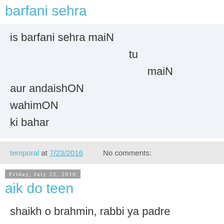barfani sehra
is barfani sehra maiN
                    tu
                         maiN
aur andaishON
wahimON
ki bahar
temporal at 7/23/2016    No comments:
Friday, July 22, 2016
aik do teen
shaikh o brahmin, rabbi ya padre
baat daire ki hO, kaabay kaleesa ki
hOl inkay citarON ka chaathay haiN